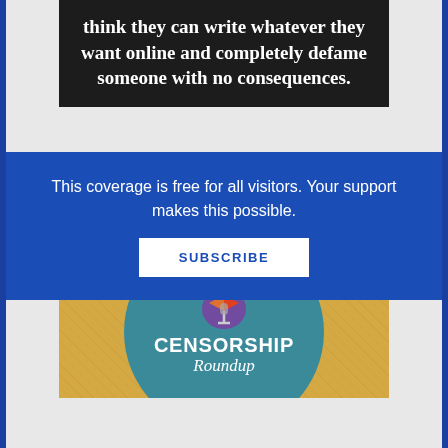[Figure (illustration): Dark background text block with white bold serif text reading: think they can write whatever they want online and completely defame someone with no consequences.]
School Librarian of the Year Amanda Jones Fights Back Against Online Attacks
[Figure (logo): Censorship Roundup logo: teal circle with stylized book/microphone icon and text 'CENSORSHIP Roundup' on a golden yellow background]
This coverage is free for all visitors. Your support makes this possible.
SUBSCRIBE